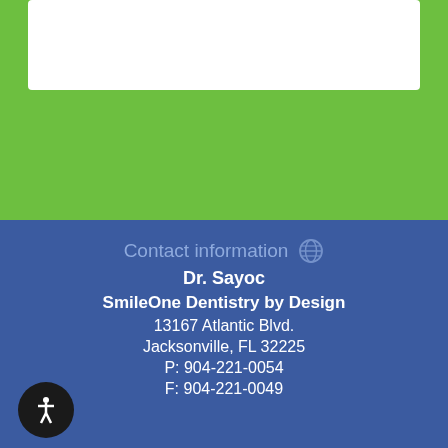[Figure (screenshot): White input text box area on green background]
send message
Contact information
Dr. Sayoc
SmileOne Dentistry by Design
13167 Atlantic Blvd.
Jacksonville, FL 32225
P: 904-221-0054
F: 904-221-0049